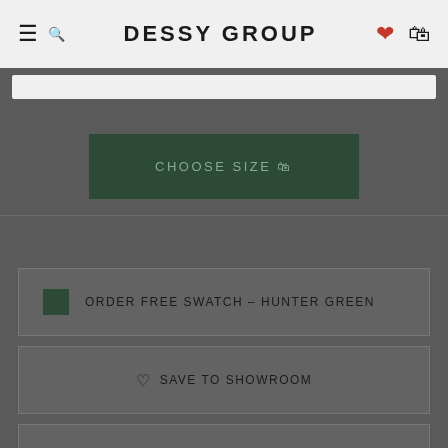DESSY GROUP
CHOOSE SIZE
ORDER FREE SWATCH – HUNTER GREEN
SAVE TO SHOWROOM
CONTACT STYLIST